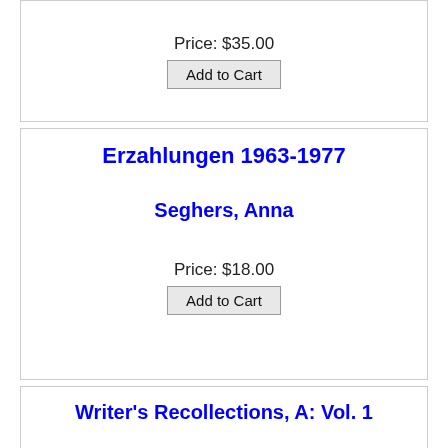Price: $35.00
Add to Cart
Erzahlungen 1963-1977
Seghers, Anna
Price: $18.00
Add to Cart
Writer's Recollections, A: Vol. 1
Ward, Mrs. Humphrey
Price: $10.00
Add to Cart